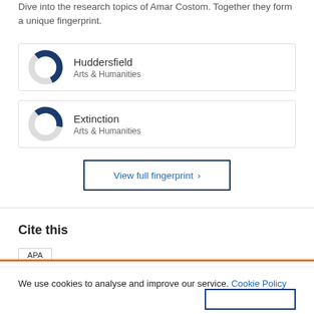Dive into the research topics of Amar Costom. Together they form a unique fingerprint.
[Figure (donut-chart): Donut chart showing approximately 55% fill, Arts & Humanities category]
[Figure (donut-chart): Donut chart showing approximately 40% fill, Arts & Humanities category]
View full fingerprint ›
Cite this
We use cookies to analyse and improve our service. Cookie Policy